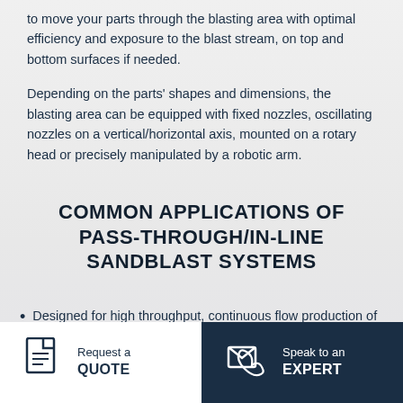to move your parts through the blasting area with optimal efficiency and exposure to the blast stream, on top and bottom surfaces if needed.
Depending on the parts' shapes and dimensions, the blasting area can be equipped with fixed nozzles, oscillating nozzles on a vertical/horizontal axis, mounted on a rotary head or precisely manipulated by a robotic arm.
COMMON APPLICATIONS OF PASS-THROUGH/IN-LINE SANDBLAST SYSTEMS
Designed for high throughput, continuous flow production of parts varying in shape, size,
Request a QUOTE
Speak to an EXPERT